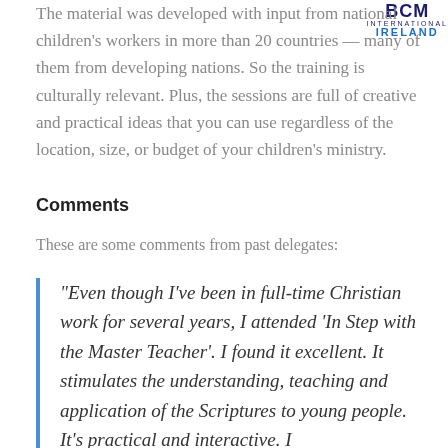[Figure (logo): BCM International Ireland logo — BCM in dark navy, INTERNATIONAL below smaller, IRELAND in blue bold capitals]
The material was developed with input from national children's workers in more than 20 countries — many of them from developing nations. So the training is culturally relevant. Plus, the sessions are full of creative and practical ideas that you can use regardless of the location, size, or budget of your children's ministry.
Comments
These are some comments from past delegates:
“Even though I’ve been in full-time Christian work for several years, I attended ‘In Step with the Master Teacher’. I found it excellent. It stimulates the understanding, teaching and application of the Scriptures to young people. It’s practical and interactive. I